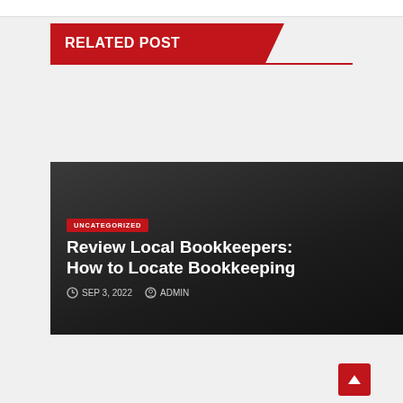RELATED POST
[Figure (screenshot): Dark card with UNCATEGORIZED badge, title 'Review Local Bookkeepers: How to Locate Bookkeeping', date SEP 3, 2022, author ADMIN]
Review Local Bookkeepers: How to Locate Bookkeeping
SEP 3, 2022  ADMIN
[Figure (screenshot): Second dark card with UNCATEGORIZED badge, partially visible title beginning with M]